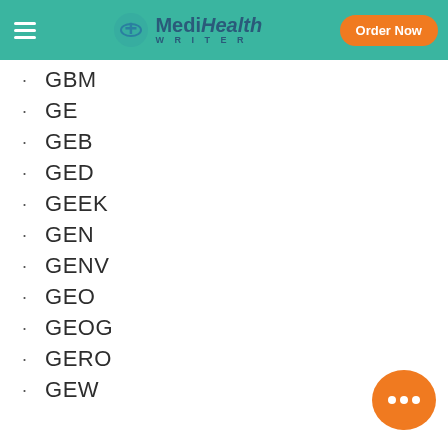MediHealth WRITER | Order Now
GBM
GE
GEB
GED
GEEK
GEN
GENV
GEO
GEOG
GERO
GEW